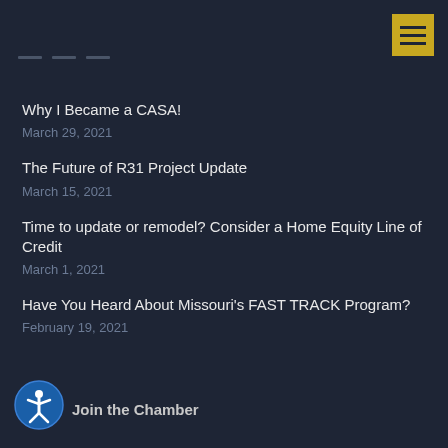Why I Became a CASA!
March 29, 2021
The Future of R31 Project Update
March 15, 2021
Time to update or remodel? Consider a Home Equity Line of Credit
March 1, 2021
Have You Heard About Missouri's FAST TRACK Program?
February 19, 2021
Join the Chamber